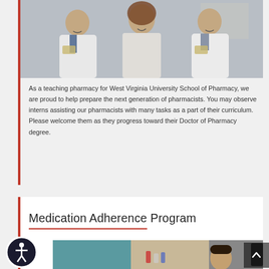[Figure (photo): Three people in white lab coats (pharmacy students/interns) smiling at the camera]
As a teaching pharmacy for West Virginia University School of Pharmacy, we are proud to help prepare the next generation of pharmacists. You may observe interns assisting our pharmacists with many tasks as a part of their curriculum. Please welcome them as they progress toward their Doctor of Pharmacy degree.
Medication Adherence Program
[Figure (photo): Partial photo of a pharmacy counter scene, showing a person and pharmacy equipment/medications]